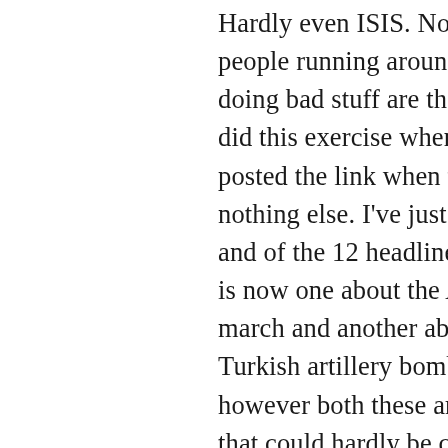Hardly even ISIS. Nope the only people running around North Syria doing bad stuff are the YPG/SDF. I did this exercise when you first posted the link when there was nothing else. I've just checked back and of the 12 headline stories there is now one about the Afrin protest march and another about the Turkish artillery bombardment, however both these are huge stories that could hardly be credibly ignored – whats missing are the FSA / Nusra conscripting type etc stories .

Now if I can spot the problem with this from Ireland then you should certainly be able to spot it from Turkey. That you instead circulate the stories, without